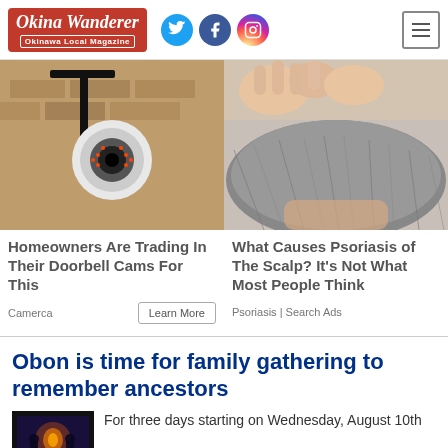Okina Wanderer — Okinawa Local Magazine
[Figure (photo): Security camera mounted on a brick wall]
Homeowners Are Trading In Their Doorbell Cams For This
Camerca  Learn More
[Figure (photo): Close-up of a person's scalp with grey hair]
What Causes Psoriasis of The Scalp? It's Not What Most People Think
Psoriasis | Search Ads
Obon is time for family gathering to remember ancestors
For three days starting on Wednesday, August 10th